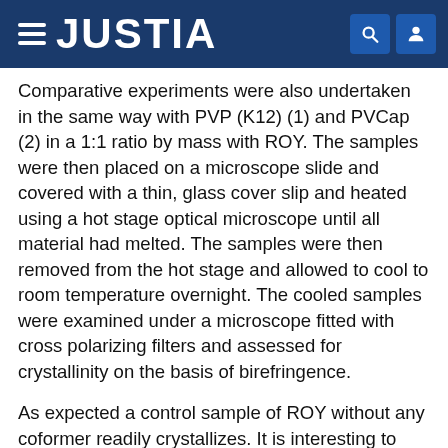JUSTIA
Comparative experiments were also undertaken in the same way with PVP (K12) (1) and PVCap (2) in a 1:1 ratio by mass with ROY. The samples were then placed on a microscope slide and covered with a thin, glass cover slip and heated using a hot stage optical microscope until all material had melted. The samples were then removed from the hot stage and allowed to cool to room temperature overnight. The cooled samples were examined under a microscope fitted with cross polarizing filters and assessed for crystallinity on the basis of birefringence.
As expected a control sample of ROY without any coformer readily crystallizes. It is interesting to note that under the conditions used, ROY crystallizes into three distinctive regions of different color suggesting that at least three different forms can be made from cooling